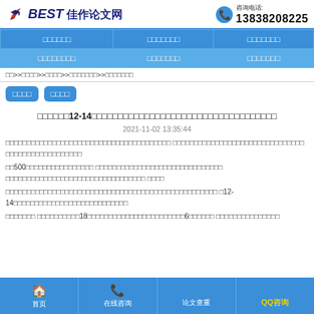BEST 佳作论文网 | 咨询电话: 13838208225
| □□□□□□ | □□□□□□□ | □□□□□□□ |
| --- | --- | --- |
| □□□□□□□□ | □□□□□□□ | □□□□□□□ |
□□>>□□□□>>□□□□>>□□□□□□□>>□□□□□□□
□□□□ □□□□
□□□□□□12-14□□□□□□□□□□□□□□□□□□□□□□□□□□□□□
2021-11-02 13:35:44
□□□□□□□□□□□□□□□□□□□□□□□□□□□□□□□ □□□□□□□□□□□□□□□□□□□□□□□□ □□□□□□□□□□□□
□□500□□□□□□□□□□□□□ □□□□□□□□□□□□□□□□□□□□□□□□□ □□□□□□□□□□□□□□□□□□□□□□□□□□□ □□□□
□□□□□□□□□□□□□□□□□□□□□□□□□□□□ □□□□□□□□□□□□□□□□□□□□□ □12-14□□□□□□□□□□□□□□□□□□
□□□□□□□ □□□□□□□□□□18□□□□□□□□□□□□□□□□□□□□□□□6□□□□□□ □□□□□□□□□□□□
首页 | 在线咨询 | 论文查重 | QQ咨询